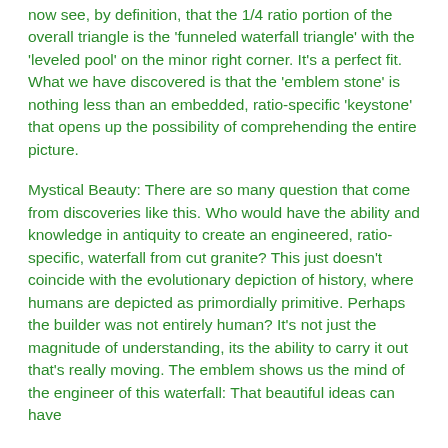now see, by definition, that the 1/4 ratio portion of the overall triangle is the 'funneled waterfall triangle' with the 'leveled pool' on the minor right corner. It's a perfect fit.  What we have discovered is that the 'emblem stone' is nothing less than an embedded, ratio-specific 'keystone' that opens up the possibility of comprehending the entire picture.
Mystical Beauty: There are so many question that come from discoveries like this. Who would have the ability and knowledge in antiquity to create an engineered, ratio-specific, waterfall from cut granite? This just doesn't coincide with the evolutionary depiction of history, where humans are depicted as primordially primitive. Perhaps the builder was not entirely human? It's not just the magnitude of understanding, its the ability to carry it out that's really moving. The emblem shows us the mind of the engineer of this waterfall: That beautiful ideas can have